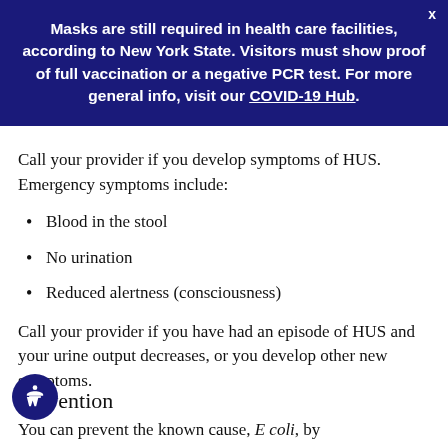Masks are still required in health care facilities, according to New York State. Visitors must show proof of full vaccination or a negative PCR test. For more general info, visit our COVID-19 Hub.
Call your provider if you develop symptoms of HUS. Emergency symptoms include:
Blood in the stool
No urination
Reduced alertness (consciousness)
Call your provider if you have had an episode of HUS and your urine output decreases, or you develop other new symptoms.
Prevention
You can prevent the known cause, E coli, by